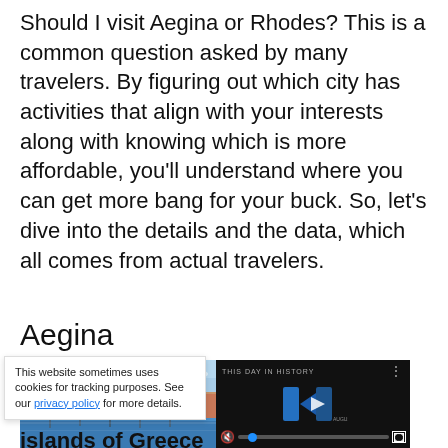Should I visit Aegina or Rhodes? This is a common question asked by many travelers. By figuring out which city has activities that align with your interests along with knowing which is more affordable, you'll understand where you can get more bang for your buck. So, let's dive into the details and the data, which all comes from actual travelers.
Aegina
[Figure (photo): Left portion shows a harbor town photo of Aegina with colorful buildings, boats in blue water, and blue sky. Right portion shows a dark video overlay with 'THIS DAY IN HISTORY' title, blue logo/play button, progress bar with blue scrubber dot, mute and fullscreen icons.]
This website sometimes uses cookies for tracking purposes. See our privacy policy for more details.
islands of Greece